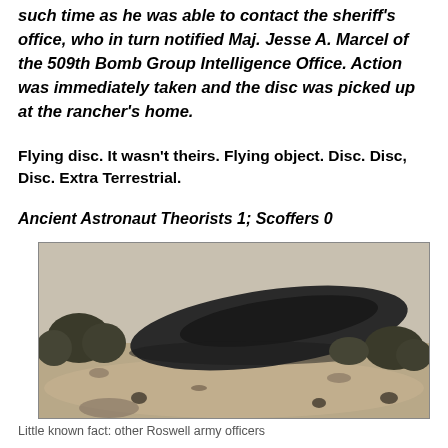such time as he was able to contact the sheriff's office, who in turn notified Maj. Jesse A. Marcel of the 509th Bomb Group Intelligence Office. Action was immediately taken and the disc was picked up at the rancher's home.
Flying disc. It wasn't theirs. Flying object. Disc. Disc, Disc. Extra Terrestrial.
Ancient Astronaut Theorists 1; Scoffers 0
[Figure (photo): Black and white photograph of a dark disc-shaped object resting on sandy desert ground with desert shrubs/vegetation around it, resembling a crashed flying saucer in arid landscape.]
Little known fact: other Roswell army officers